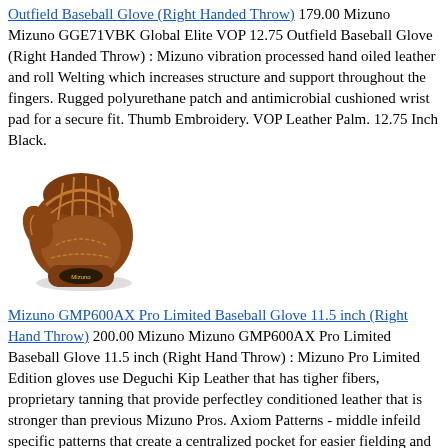Outfield Baseball Glove (Right Handed Throw) 179.00 Mizuno Mizuno GGE71VBK Global Elite VOP 12.75 Outfield Baseball Glove (Right Handed Throw) : Mizuno vibration processed hand oiled leather and roll Welting which increases structure and support throughout the fingers. Rugged polyurethane patch and antimicrobial cushioned wrist pad for a secure fit. Thumb Embroidery. VOP Leather Palm. 12.75 Inch Black.
[Figure (photo): Brown leather Mizuno baseball glove (outfield), right handed throw]
Mizuno GMP600AX Pro Limited Baseball Glove 11.5 inch (Right Hand Throw) 200.00 Mizuno Mizuno GMP600AX Pro Limited Baseball Glove 11.5 inch (Right Hand Throw) : Mizuno Pro Limited Edition gloves use Deguchi Kip Leather that has tigher fibers, proprietary tanning that provide perfectley conditioned leather that is stronger than previous Mizuno Pros. Axiom Patterns - middle infeild specific patterns that create a centralized pocket for easier fielding and quick transition. Shika Palm Lining - Eite deerskin palm lining that provides the